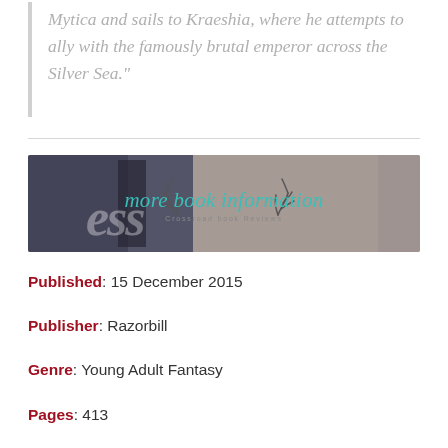Mytica and sails to Kraeshia, where he attempts to ally with the famously brutal emperor across the Silver Sea."
[Figure (illustration): Banner image for 'more book information' with a teal script overlay on a blurred book cover background, with decorative antler illustrations on either side. Subtitle reads 'Crossroad Book Reviews'.]
Published: 15 December 2015
Publisher: Razorbill
Genre: Young Adult Fantasy
Pages: 413